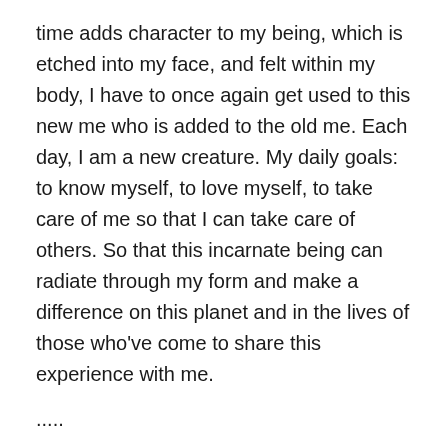time adds character to my being, which is etched into my face, and felt within my body, I have to once again get used to this new me who is added to the old me. Each day, I am a new creature. My daily goals: to know myself, to love myself, to take care of me so that I can take care of others. So that this incarnate being can radiate through my form and make a difference on this planet and in the lives of those who've come to share this experience with me.
.....
Although we don't always find it easy to take time to be present and to catch up with ourselves, I think it is paramount. The one thing certain about life is that it is in a constant forward-moving flow. If we don't let the waves carry us, we exert a lot of effort in trying to swim against the current. No matter how hard we may try and how